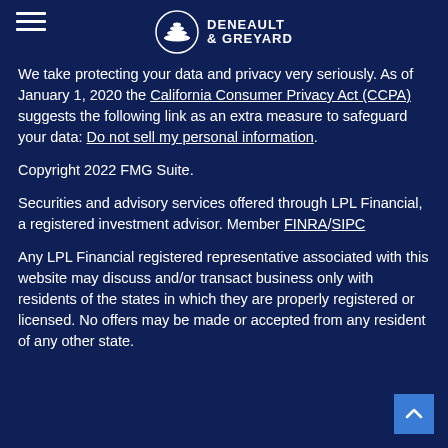DENEAULT & GREYARD
We take protecting your data and privacy very seriously. As of January 1, 2020 the California Consumer Privacy Act (CCPA) suggests the following link as an extra measure to safeguard your data: Do not sell my personal information.
Copyright 2022 FMG Suite.
Securities and advisory services offered through LPL Financial, a registered investment advisor. Member FINRA/SIPC
Any LPL Financial registered representative associated with this website may discuss and/or transact business only with residents of the states in which they are properly registered or licensed. No offers may be made or accepted from any resident of any other state.